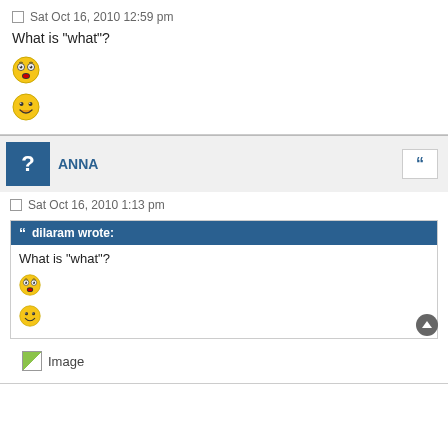Sat Oct 16, 2010 12:59 pm
What is "what"?
[Figure (illustration): Surprised/confused emoji face]
[Figure (illustration): Happy smiling emoji face]
ANNA
Sat Oct 16, 2010 1:13 pm
dilaram wrote: What is "what"?
[Figure (illustration): Surprised/confused emoji face (small)]
[Figure (illustration): Happy smiling emoji face (small)]
[Figure (illustration): Image placeholder]